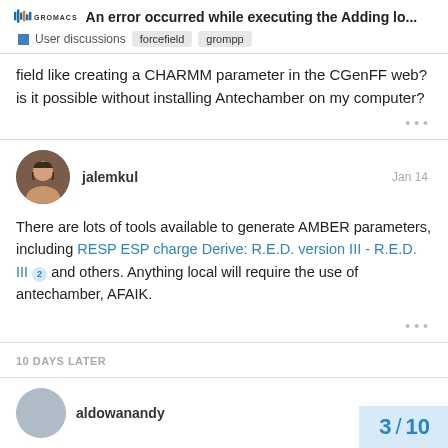An error occurred while executing the Adding lo...
User discussions  forcefield  grompp
field like creating a CHARMM parameter in the CGenFF web? is it possible without installing Antechamber on my computer?
jalemkul  Jan 14
There are lots of tools available to generate AMBER parameters, including RESP ESP charge Derive: R.E.D. version III - R.E.D. III 2 and others. Anything local will require the use of antechamber, AFAIK.
10 DAYS LATER
aldowanandy
3 / 10